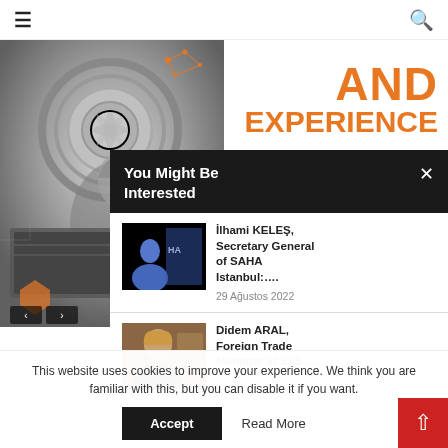≡  🔍
[Figure (photo): Illustration of a woman working at a computer with engineering/technology gear and circuit overlay graphics in grayscale with orange accent dots]
AND EXPERIENCE
You Might Be Interested
[Figure (photo): Photo of İlhami KELEŞ, Secretary General of SAHA Istanbul, in front of a blue background with logos]
İlhami KELEŞ, Secretary General of SAHA Istanbul:....
29 Ağustos 2022
[Figure (photo): Photo of Didem ARAL, Foreign Trade Manager at SYS]
Didem ARAL, Foreign Trade Manager at SYS:...
This website uses cookies to improve your experience. We think you are familiar with this, but you can disable it if you want.
Accept
Read More